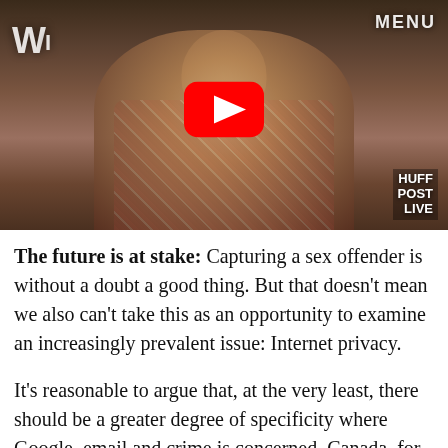[Figure (screenshot): Video thumbnail showing a man in a plaid shirt seated, with a YouTube play button overlay in the center, 'MENU' text in top right, partial text/logo on top left, and 'HUFF POST LIVE' logo in the bottom right corner.]
The future is at stake: Capturing a sex offender is without a doubt a good thing. But that doesn't mean we also can't take this as an opportunity to examine an increasingly prevalent issue: Internet privacy.
It's reasonable to argue that, at the very least, there should be a greater degree of specificity where Google, email and crime is concerned. Canada, for example, is already taking steps to ensure this and